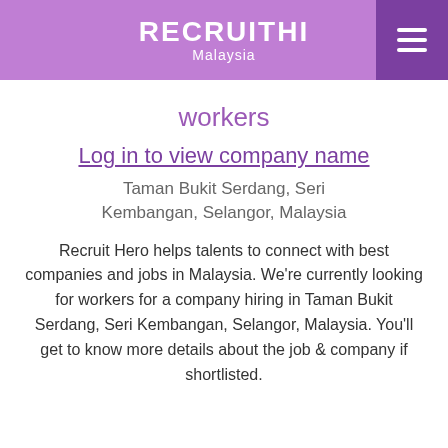RECRUITHI Malaysia
workers
Log in to view company name
Taman Bukit Serdang, Seri Kembangan, Selangor, Malaysia
Recruit Hero helps talents to connect with best companies and jobs in Malaysia. We're currently looking for workers for a company hiring in Taman Bukit Serdang, Seri Kembangan, Selangor, Malaysia. You'll get to know more details about the job & company if shortlisted.